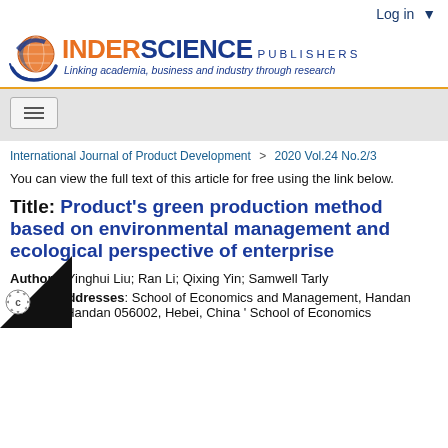Log in
[Figure (logo): Inderscience Publishers logo with globe icon, brand name INDERSCIENCE PUBLISHERS, tagline: Linking academia, business and industry through research]
International Journal of Product Development > 2020 Vol.24 No.2/3
You can view the full text of this article for free using the link below.
Title: Product's green production method based on environmental management and ecological perspective of enterprise
Authors: Yinghui Liu; Ran Li; Qixing Yin; Samwell Tarly
Addresses: School of Economics and Management, Handan , Handan 056002, Hebei, China ' School of Economics